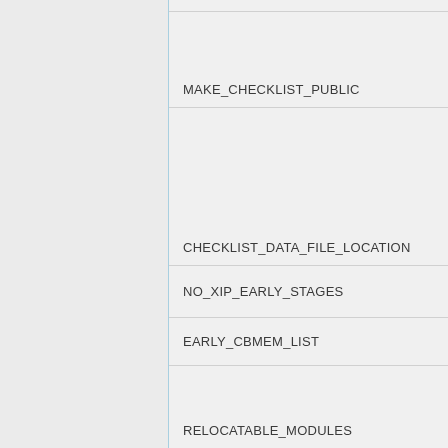MAKE_CHECKLIST_PUBLIC
CHECKLIST_DATA_FILE_LOCATION
NO_XIP_EARLY_STAGES
EARLY_CBMEM_LIST
RELOCATABLE_MODULES